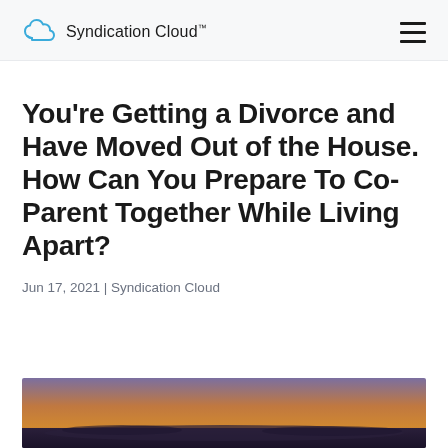Syndication Cloud™
You're Getting a Divorce and Have Moved Out of the House. How Can You Prepare To Co-Parent Together While Living Apart?
Jun 17, 2021 | Syndication Cloud
[Figure (photo): Partially visible photo at bottom of page, showing a blurred outdoor scene with warm colors (orange/purple tones), likely a sunset or landscape image.]